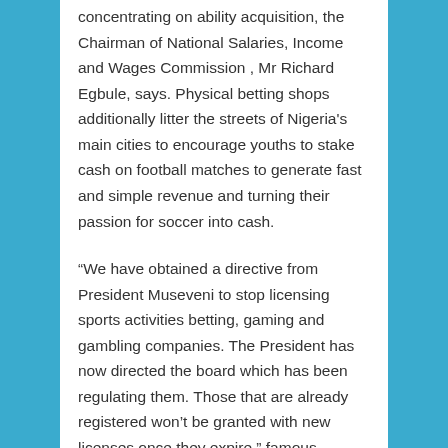concentrating on ability acquisition, the Chairman of National Salaries, Income and Wages Commission , Mr Richard Egbule, says. Physical betting shops additionally litter the streets of Nigeria's main cities to encourage youths to stake cash on football matches to generate fast and simple revenue and turning their passion for soccer into cash.
“We have obtained a directive from President Museveni to stop licensing sports activities betting, gaming and gambling companies. The President has now directed the board which has been regulating them. Those that are already registered won’t be granted with new licenses once they expire,” famous Uganda’s Minister for Finance, David Bahati. The screens on which you select